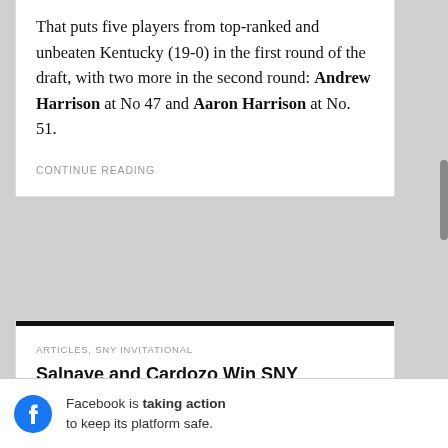That puts five players from top-ranked and unbeaten Kentucky (19-0) in the first round of the draft, with two more in the second round: Andrew Harrison at No 47 and Aaron Harrison at No. 51.
CONTINUE READING
ARTICLES, SNY INVITATIONAL
Salnave and Cardozo Win SNY Invitational in Stunning Fashion; Govan Impresses
JANUARY 24, 2015 / AUTHOR: ADAM ZAGORIA
By JEREMY FUCHS
Facebook is taking action to keep its platform safe.